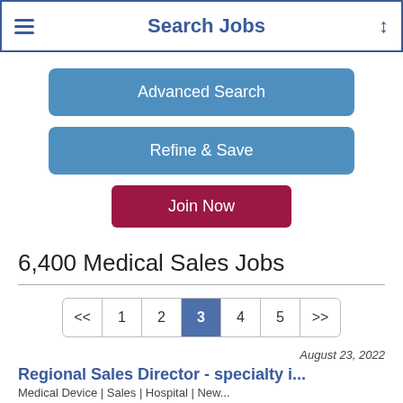Search Jobs
Advanced Search
Refine & Save
Join Now
6,400 Medical Sales Jobs
<< 1 2 3 4 5 >>
August 23, 2022
Regional Sales Director - specialty i...
Medical Device | Sales | Hospital | New...